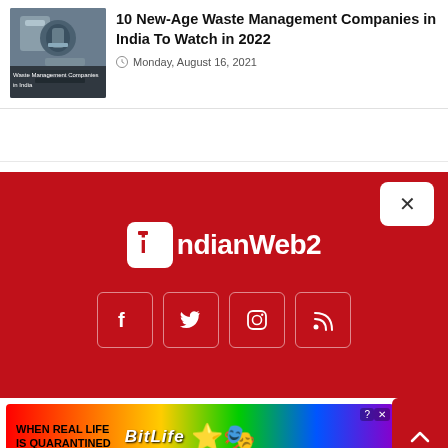[Figure (photo): Thumbnail image of waste management machinery with overlay text 'Waste Management Companies in India']
10 New-Age Waste Management Companies in India To Watch in 2022
Monday, August 16, 2021
[Figure (logo): IndianWeb2 logo on red background with social media icons (Facebook, Twitter, Instagram, RSS)]
[Figure (photo): BitLife advertisement banner: 'When Real Life Is Quarantined' with BitLife branding and emojis]